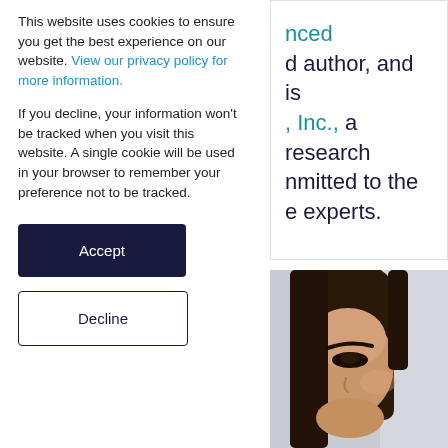This website uses cookies to ensure you get the best experience on our website. View our privacy policy for more information.
If you decline, your information won't be tracked when you visit this website. A single cookie will be used in your browser to remember your preference not to be tracked.
Accept
Decline
nced d author, and is , Inc., a research nmitted to the e experts.
[Figure (photo): Close-up photo of a woman's face, partially visible, with dark hair, showing her eye and part of her face against a light grey background.]